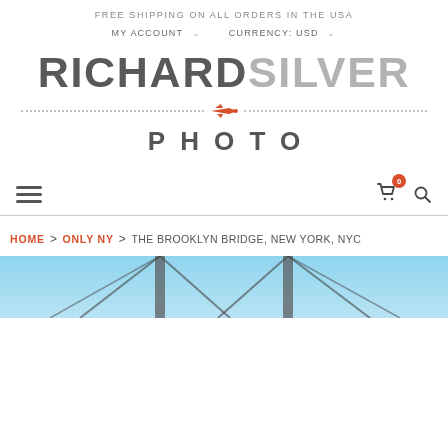FREE SHIPPING ON ALL ORDERS IN THE USA
MY ACCOUNT   CURRENCY: USD
RICHARD SILVER PHOTO
[Figure (logo): Richard Silver Photo logo with airplane icon and dotted line divider]
0 (cart) (search)
HOME > ONLY NY > THE BROOKLYN BRIDGE, NEW YORK, NYC
[Figure (photo): Partial view of the Brooklyn Bridge against a blue sky]